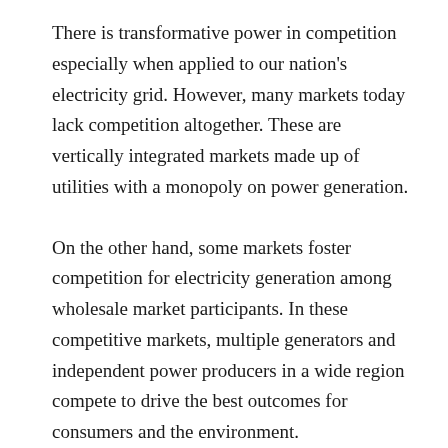There is transformative power in competition especially when applied to our nation's electricity grid. However, many markets today lack competition altogether. These are vertically integrated markets made up of utilities with a monopoly on power generation.
On the other hand, some markets foster competition for electricity generation among wholesale market participants. In these competitive markets, multiple generators and independent power producers in a wide region compete to drive the best outcomes for consumers and the environment.
In terms of cost, the competition enshrined in the wholesale model has proven effective in driving down costs for customers. A recent paper from the Pacific Research Institute, a California-based think tank, found that families and businesses lose out financially when states cling to the outdated